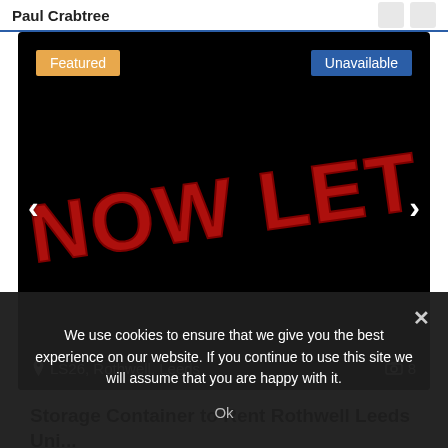Paul Crabtree
[Figure (photo): Black background image with large red distressed text reading 'NOW LET', with 'Featured' badge in orange top-left and 'Unavailable' badge in blue top-right, location 'LS26, Rothwell, Leeds' and photo count '8' at bottom]
Storage Container to Rent Rothwell Leeds Uni...
We use cookies to ensure that we give you the best experience on our website. If you continue to use this site we will assume that you are happy with it.
Ok